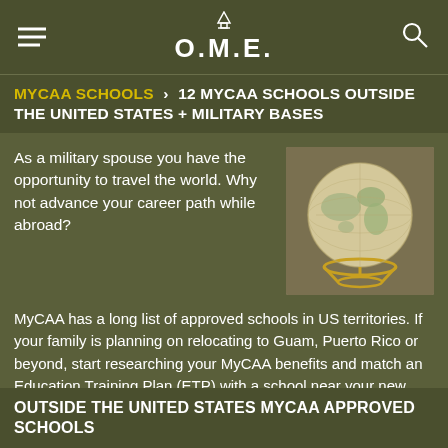O.M.E.
MYCAA SCHOOLS > 12 MYCAA SCHOOLS OUTSIDE THE UNITED STATES + MILITARY BASES
As a military spouse you have the opportunity to travel the world. Why not advance your career path while abroad?
[Figure (photo): A vintage globe on a gold stand, photographed close up.]
MyCAA has a long list of approved schools in US territories. If your family is planning on relocating to Guam, Puerto Rico or beyond, start researching your MyCAA benefits and match an Education Training Plan (ETP) with a school near your new home.
OUTSIDE THE UNITED STATES MYCAA APPROVED SCHOOLS